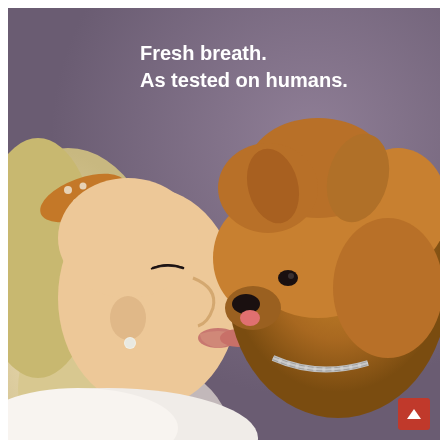[Figure (photo): Advertisement photo showing a young blonde woman in profile view with a polka-dot headband and pearl earring, leaning in to kiss a small fluffy Pomeranian dog held up at face level. The background is a muted purple/mauve color. The dog has a silver chain collar. The woman is wearing a white top.]
Fresh breath.
As tested on humans.